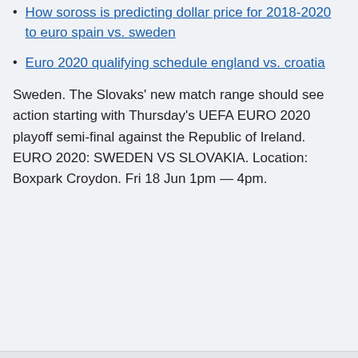How soross is predicting dollar price for 2018-2020 to euro spain vs. sweden
Euro 2020 qualifying schedule england vs. croatia
Sweden. The Slovaks' new match range should see action starting with Thursday's UEFA EURO 2020 playoff semi-final against the Republic of Ireland. EURO 2020: SWEDEN VS SLOVAKIA. Location: Boxpark Croydon. Fri 18 Jun 1pm — 4pm.